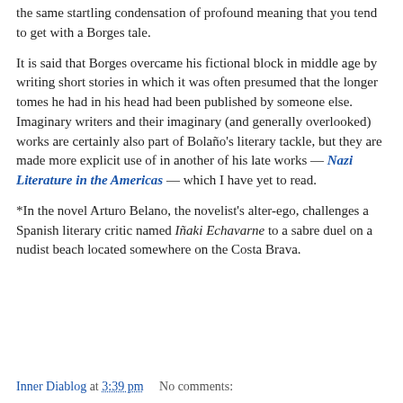the same startling condensation of profound meaning that you tend to get with a Borges tale.
It is said that Borges overcame his fictional block in middle age by writing short stories in which it was often presumed that the longer tomes he had in his head had been published by someone else. Imaginary writers and their imaginary (and generally overlooked) works are certainly also part of Bolaño's literary tackle, but they are made more explicit use of in another of his late works — Nazi Literature in the Americas — which I have yet to read.
*In the novel Arturo Belano, the novelist's alter-ego, challenges a Spanish literary critic named Iñaki Echavarne to a sabre duel on a nudist beach located somewhere on the Costa Brava.
Inner Diablog at 3:39 pm   No comments: